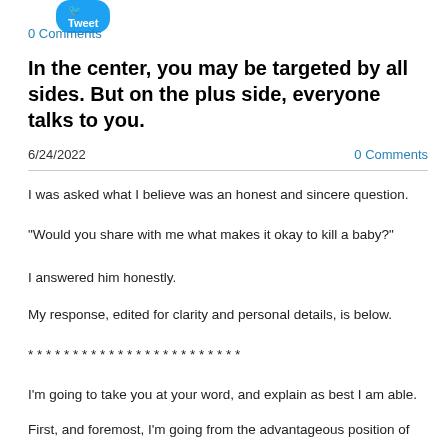[Figure (logo): Twitter/Tweet button in blue]
0 Comments
In the center, you may be targeted by all sides. But on the plus side, everyone talks to you.
6/24/2022
0 Comments
I was asked what I believe was an honest and sincere question.
"Would you share with me what makes it okay to kill a baby?"
I answered him honestly.
My response, edited for clarity and personal details, is below.
* * * * * * * * * * * * * * * * * * * * * * * *
I'm going to take you at your word, and explain as best I am able.
First, and foremost, I'm going from the advantageous position of